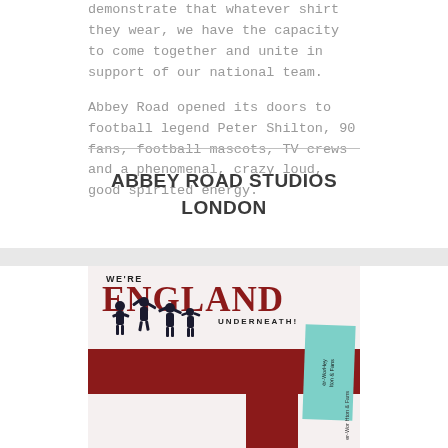demonstrate that whatever shirt they wear, we have the capacity to come together and unite in support of our national team.

Abbey Road opened its doors to football legend Peter Shilton, 90 fans, football mascots, TV crews and a phenomenal, crazy loud, good spirited energy.
ABBEY ROAD STUDIOS
LONDON
[Figure (illustration): An England football themed postcard or flyer featuring the St George's Cross (white background with dark red cross), text reading 'WE'RE ENGLAND UNDERNEATH!' with silhouettes of celebrating figures, and a teal sticker with handwritten-style text in the bottom right corner.]